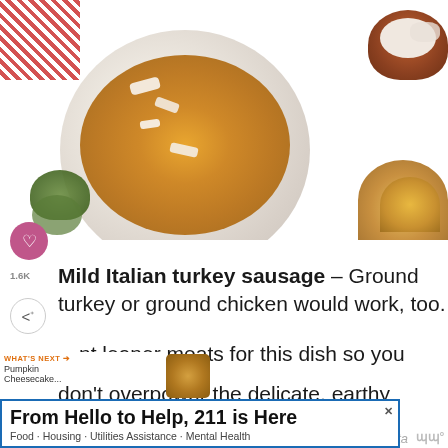[Figure (photo): Overhead photo of a white bowl of pasta (spaghetti with pumpkin sauce and parmesan shavings), with a red-striped cloth, small brown bowl of cheese, sage leaves, and another bowl of pasta in the background.]
1.6K  Mild Italian turkey sausage – Ground turkey or ground chicken would work, too. ...nt leaner meats for this dish so you don't overpower the delicate, earthy flavor of the pumpkin.
[Figure (photo): Small thumbnail image of pumpkin cheesecake bites labeled WHAT'S NEXT → Pumpkin Cheesecake...]
From Hello to Help, 211 is Here
Food · Housing · Utilities Assistance · Mental Health